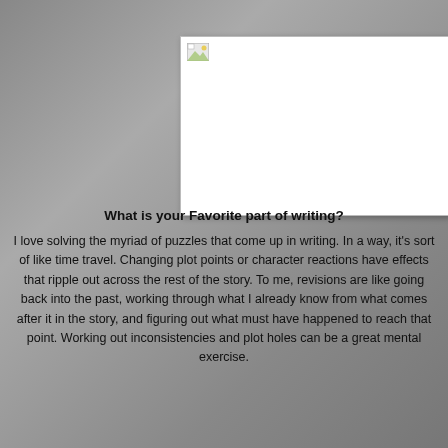[Figure (photo): A broken/missing image placeholder with a small image icon in the top-left corner, displayed as a white rectangle with a border.]
What is your Favorite part of writing?
I love solving the myriad of puzzles that come up in writing. In a way, it's sort of like time travel. Changing plot points or character reactions have effects that ripple out across the rest of the story. To me, revisions are like going back into the past, working through what I already know from what comes after it in the story, and figuring out what must have happened to reach that point. Working out inconsistencies and plot holes can be a great mental exercise.